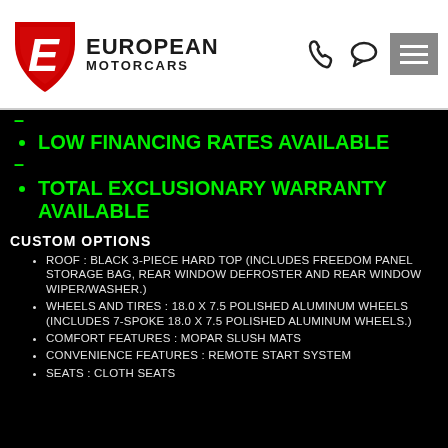[Figure (logo): European Motorcars logo with red shield/E emblem and company name]
LOW FINANCING RATES AVAILABLE
TOTAL EXCLUSIONARY WARRANTY AVAILABLE
CUSTOM OPTIONS
ROOF : BLACK 3-PIECE HARD TOP (INCLUDES FREEDOM PANEL STORAGE BAG, REAR WINDOW DEFROSTER AND REAR WINDOW WIPER/WASHER.)
WHEELS AND TIRES : 18.0 X 7.5 POLISHED ALUMINUM WHEELS (INCLUDES 7-SPOKE 18.0 X 7.5 POLISHED ALUMINUM WHEELS.)
COMFORT FEATURES : MOPAR SLUSH MATS
CONVENIENCE FEATURES : REMOTE START SYSTEM
SEATS : CLOTH SEATS